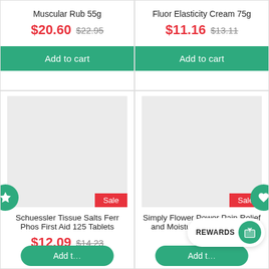Muscular Rub 55g
$20.60  $22.95
Add to cart
Fluor Elasticity Cream 75g
$11.16  $13.11
Add to cart
[Figure (screenshot): Product image placeholder (grey box) with Sale badge, star icon on left]
Schuessler Tissue Salts Ferr Phos First Aid 125 Tablets
$12.09  $14.23
[Figure (screenshot): Product image placeholder (grey box) with Sale badge, heart icon on right, Rewards bar at bottom right]
Simply Flower Power Pain Relief and Moisturising Cream 25g
REWARDS